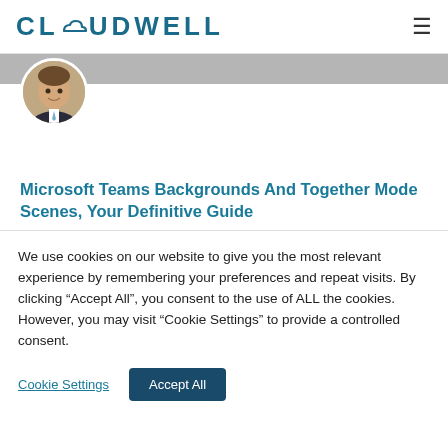CLOUDWELL
[Figure (photo): Circular cropped headshot of a man in a suit with a light blue tie, above a grey banner background.]
Microsoft Teams Backgrounds And Together Mode Scenes, Your Definitive Guide
UPDATE: With the continued improvements to Microsoft Teams, you can now easily create your own Together mode scenes via the Scene studio in the
We use cookies on our website to give you the most relevant experience by remembering your preferences and repeat visits. By clicking “Accept All”, you consent to the use of ALL the cookies. However, you may visit “Cookie Settings” to provide a controlled consent.
Cookie Settings | Accept All